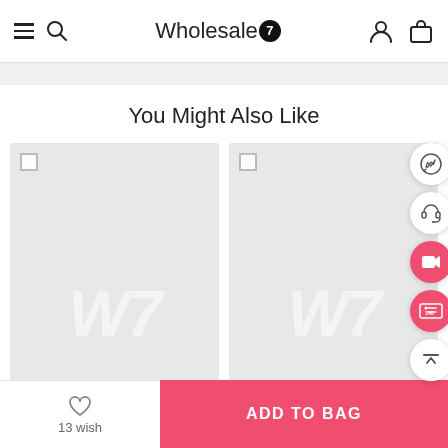Wholesale7 - navigation header with hamburger menu, search, logo, user account, and shopping bag icons
You Might Also Like
[Figure (screenshot): Two product placeholder cards with W7 watermark logo, each with a checkbox in the top-left corner. Right side has floating action icons: WhatsApp, customer service headset, video (pink), coupon (pink), and scroll-to-top. Bottom has a wishlist button (13 wish) and pink ADD TO BAG button.]